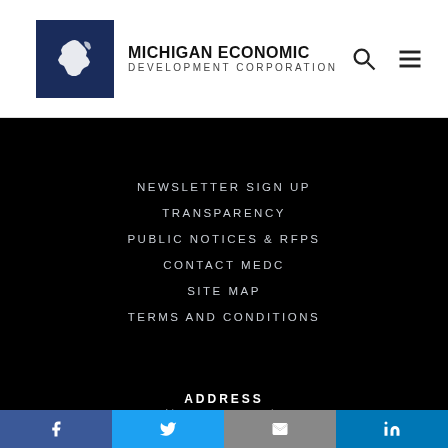MICHIGAN ECONOMIC DEVELOPMENT CORPORATION
NEWSLETTER SIGN UP
TRANSPARENCY
PUBLIC NOTICES & RFPS
CONTACT MEDC
SITE MAP
TERMS AND CONDITIONS
ADDRESS
300 N. Washington Square, Lansing, MI 48913
Facebook | Twitter | Email | LinkedIn